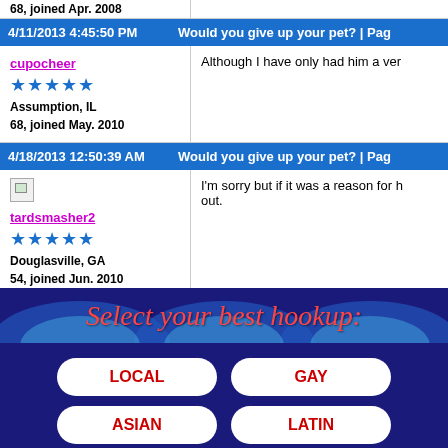| Timestamp / User | Topic / Content |
| --- | --- |
| 4/11/2013 4:45:50 PM | Would you give up your pet? | Pag... |
| cupocheer
★★★★★
Assumption, IL
68, joined May. 2010 | Although I have only had him a ver... |
| 4/18/2013 12:50:39 AM | Would you give up your pet? | Pag... |
| tardsmasher2
★★★★★
Douglasville, GA
54, joined Jun. 2010 | I'm sorry but if it was a reason for h... out. |
| 4/18/2013 7:14:51 AM | Would you give up your pet? | Pag... |
| britbrit_santas
Norcross, GA
22, joined Apr. 2013 | Never!! |
| 4/18/2013 4:30:30 PM | Would you give up your pet? | Pag... |
[Figure (advertisement): Ad overlay with dark blue background and wave decoration. Text 'Select your best hookup:' in red italic. Four white rounded buttons: LOCAL, GAY, ASIAN, LATIN in red bold text.]